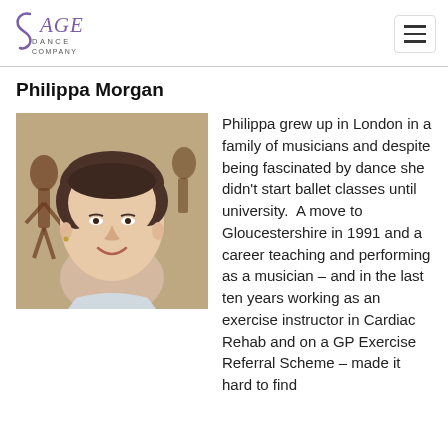SAGE Dance Company
Philippa Morgan
[Figure (photo): Portrait photo of Philippa Morgan, a woman with short dark hair, smiling, in front of a wall with decorative artwork.]
Philippa grew up in London in a family of musicians and despite being fascinated by dance she didn't start ballet classes until university.  A move to Gloucestershire in 1991 and a career teaching and performing as a musician – and in the last ten years working as an exercise instructor in Cardiac Rehab and on a GP Exercise Referral Scheme – made it hard to find